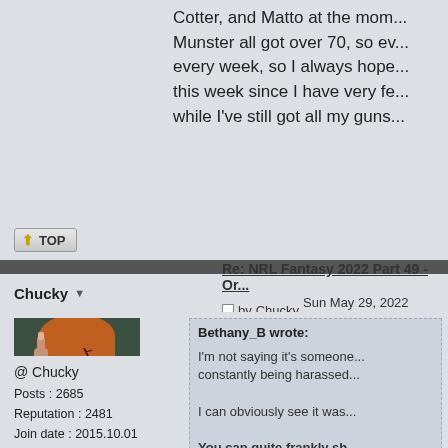Cotter, and Matto at the mom... Munster all got over 70, so ev... every week, so I always hope... this week since I have very fe... while I've still got all my guns...
[Figure (other): TOP navigation button with upward arrow]
Re: NRL Fantasy 2022 Part 49 - Or...
by Chucky Sun May 29, 2022 1:22...
[Figure (photo): Profile avatar photo of Chucky doll from horror movie, showing the doll making a rude gesture with one hand, with stitched face and colorful striped outfit]
@ Chucky
Posts : 2685
Reputation : 2481
Join date : 2015.10.01
Bethany_B wrote:

I'm not saying it's someone... constantly being harassed...

I can obviously see it was...

You can quite frankly sh... me.
Great advice Beth. Maybe this...